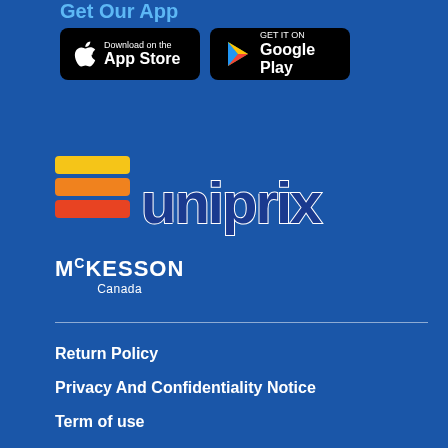Get Our App
[Figure (logo): App Store download button (Apple)]
[Figure (logo): Google Play download button]
[Figure (logo): Uniprix logo with colorful stripes and text]
[Figure (logo): McKesson Canada logo]
Return Policy
Privacy And Confidentiality Notice
Term of use
Pharmacies
Careers